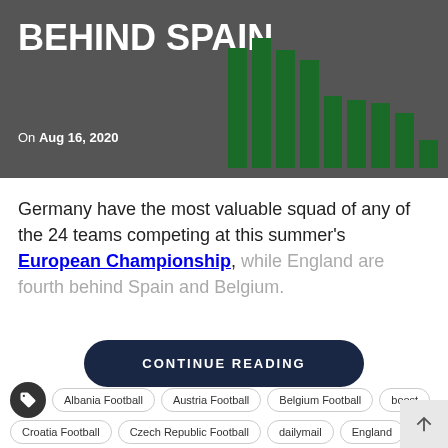[Figure (other): Banner image with title 'BEHIND SPAIN' and bar chart showing green bars on grey background, dated Aug 16, 2020]
Germany have the most valuable squad of any of the 24 teams competing at this summer's European Championship, while England are fourth behind Spain and Belgium.
CONTINUE READING
Albania Football | Austria Football | Belgium Football | boost | Croatia Football | Czech Republic Football | dailymail | England